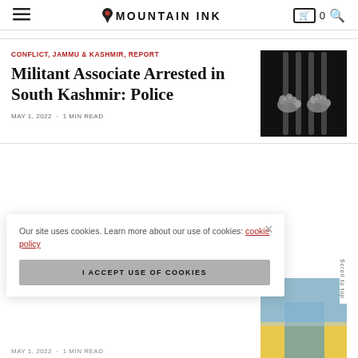MOUNTAIN INK
CONFLICT, JAMMU & KASHMIR, REPORT
Militant Associate Arrested in South Kashmir: Police
MAY 1, 2022 · 1 MIN READ
[Figure (photo): Black and white photo of hands gripping prison bars]
Our site uses cookies. Learn more about our use of cookies: cookie policy
I ACCEPT USE OF COOKIES
[Figure (photo): Partially visible colorful image of a flag or garment, bottom right]